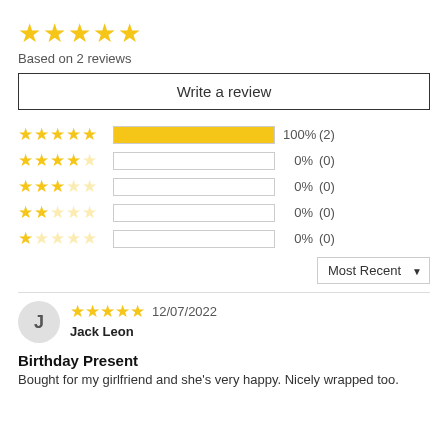[Figure (other): Five gold stars rating display]
Based on 2 reviews
Write a review
[Figure (bar-chart): Rating breakdown]
Most Recent
J
12/07/2022
Jack Leon
Birthday Present
Bought for my girlfriend and she's very happy. Nicely wrapped too.